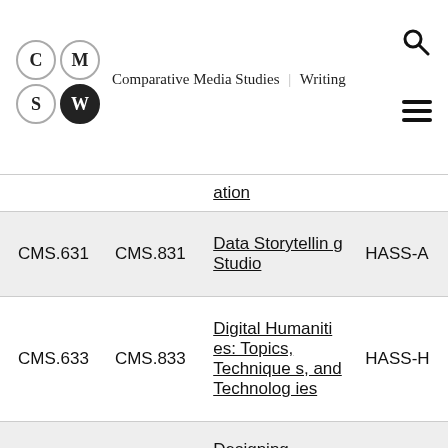Comparative Media Studies | Writing
|  |  | Course Name | Attribute |
| --- | --- | --- | --- |
| CMS.631 | CMS.831 | Data Storytelling Studio | HASS-A |
| CMS.633 | CMS.833 | Digital Humanities: Topics, Techniques, and Technologies | HASS-H |
|  |  | Designing... |  |